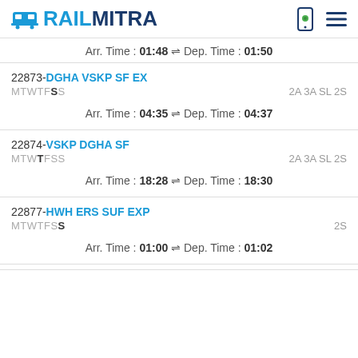RAILMITRA
Arr. Time : 01:48 ⇌ Dep. Time : 01:50
22873-DGHA VSKP SF EX
MTWTFSS	2A 3A SL 2S
Arr. Time : 04:35 ⇌ Dep. Time : 04:37
22874-VSKP DGHA SF
MTWTFSS	2A 3A SL 2S
Arr. Time : 18:28 ⇌ Dep. Time : 18:30
22877-HWH ERS SUF EXP
MTWTFSS	2S
Arr. Time : 01:00 ⇌ Dep. Time : 01:02